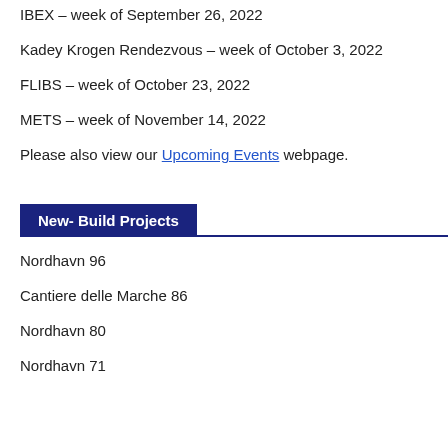IBEX – week of September 26, 2022
Kadey Krogen Rendezvous – week of October 3, 2022
FLIBS – week of October 23, 2022
METS – week of November 14, 2022
Please also view our Upcoming Events webpage.
New- Build Projects
Nordhavn 96
Cantiere delle Marche 86
Nordhavn 80
Nordhavn 71